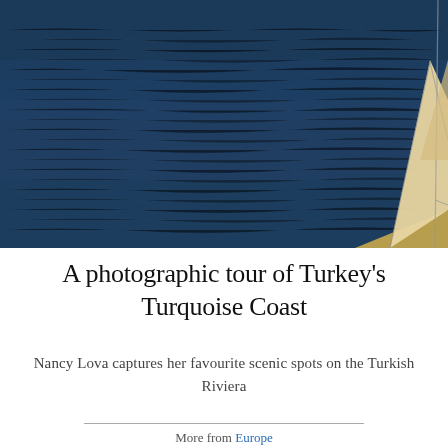[Figure (photo): Aerial/wide view of deep blue sea water with small waves, and the bow/sail of a sailing yacht visible in the lower right corner, with golden/beige sails catching light]
A photographic tour of Turkey's Turquoise Coast
Nancy Lova captures her favourite scenic spots on the Turkish Riviera
More from Europe